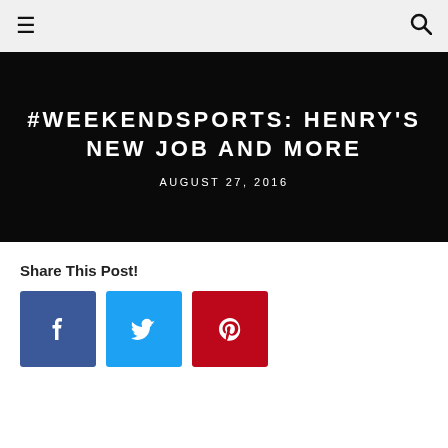≡  🔍
#WEEKENDSPORTS: HENRY'S NEW JOB AND MORE
AUGUST 27, 2016
Share This Post!
[Figure (infographic): Three social media share buttons: Facebook (blue, f icon), Twitter (light blue, bird icon), Pinterest (red, P icon)]